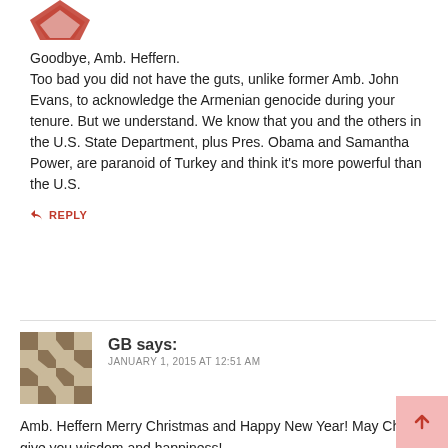[Figure (illustration): Red decorative avatar/icon at top left, partially visible]
Goodbye, Amb. Heffern.
Too bad you did not have the guts, unlike former Amb. John Evans, to acknowledge the Armenian genocide during your tenure. But we understand. We know that you and the others in the U.S. State Department, plus Pres. Obama and Samantha Power, are paranoid of Turkey and think it's more powerful than the U.S.
↩ REPLY
[Figure (illustration): Checkerboard pattern avatar for user GB]
GB says:
JANUARY 1, 2015 AT 12:51 AM
Amb. Heffern Merry Christmas and Happy New Year! May Christ give you wisdom and happiness!
↩ REPLY